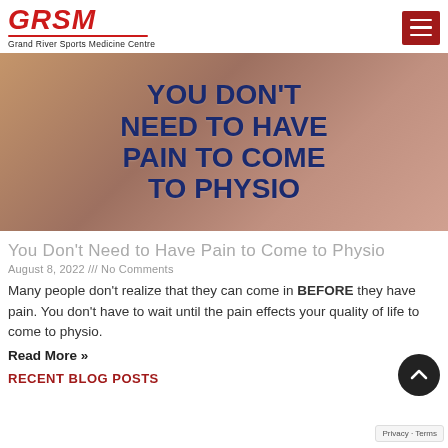[Figure (logo): GRSM Grand River Sports Medicine Centre logo with red text and underline]
[Figure (photo): Banner image with text overlay: YOU DON'T NEED TO HAVE PAIN TO COME TO PHYSIO in dark blue bold letters over a blurred gym background]
You Don't Need to Have Pain to Come to Physio
August 8, 2022 /// No Comments
Many people don't realize that they can come in BEFORE they have pain. You don't have to wait until the pain effects your quality of life to come to physio.
Read More »
RECENT BLOG POSTS